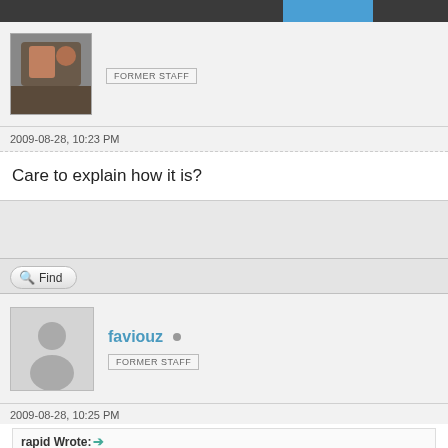[Figure (photo): Top navigation bar, dark grey background with blue button and user avatar photo]
FORMER STAFF
2009-08-28, 10:23 PM
Care to explain how it is?
Find
[Figure (illustration): Default user avatar silhouette placeholder image for faviouz]
faviouz
FORMER STAFF
2009-08-28, 10:25 PM
rapid Wrote:
Need some help please, this has stopped working. Tha